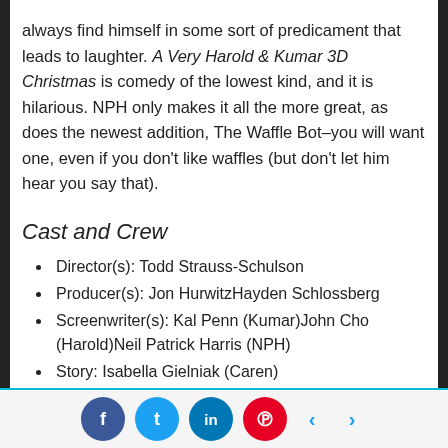always find himself in some sort of predicament that leads to laughter. A Very Harold & Kumar 3D Christmas is comedy of the lowest kind, and it is hilarious. NPH only makes it all the more great, as does the newest addition, The Waffle Bot–you will want one, even if you don't like waffles (but don't let him hear you say that).
Cast and Crew
Director(s): Todd Strauss-Schulson
Producer(s): Jon HurwitzHayden Schlossberg
Screenwriter(s): Kal Penn (Kumar)John Cho (Harold)Neil Patrick Harris (NPH)
Story: Isabella Gielniak (Caren)
Cast: Bobby Lee (Kenneth Park)Tom Lennon